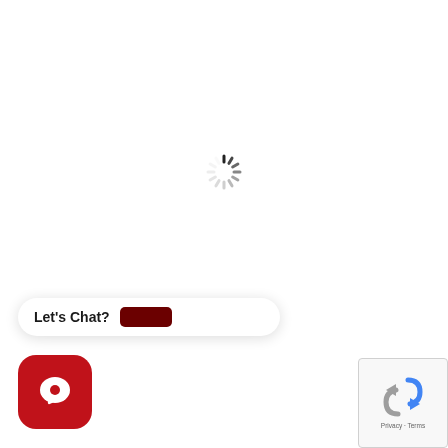[Figure (other): Loading spinner (circular dashed progress indicator) centered on white background]
[Figure (other): Chat widget bubble saying 'Let's Chat?' with a dark red brand logo pill, positioned bottom-left]
[Figure (other): Red rounded square chat button with white speech bubble icon, bottom-left]
[Figure (other): Google reCAPTCHA widget showing blue/grey recycling arrows logo with 'Privacy - Terms' text, bottom-right corner]